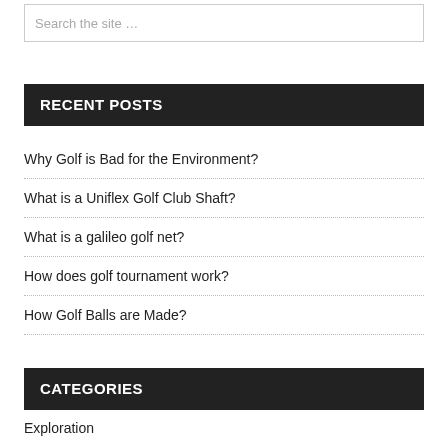Search the site …
RECENT POSTS
Why Golf is Bad for the Environment?
What is a Uniflex Golf Club Shaft?
What is a galileo golf net?
How does golf tournament work?
How Golf Balls are Made?
CATEGORIES
Exploration